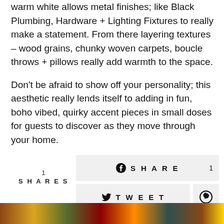warm white allows metal finishes; like Black Plumbing, Hardware + Lighting Fixtures to really make a statement. From there layering textures – wood grains, chunky woven carpets, boucle throws + pillows really add warmth to the space.
Don't be afraid to show off your personality; this aesthetic really lends itself to adding in fun, boho vibed, quirky accent pieces in small doses for guests to discover as they move through your home.
[Figure (infographic): Social sharing buttons: Facebook SHARE 1, Twitter TWEET, Pinterest pin icon. Left side shows '1 SHARES' count.]
[Figure (photo): Colorful photo strip at the bottom of the page showing decorative items.]